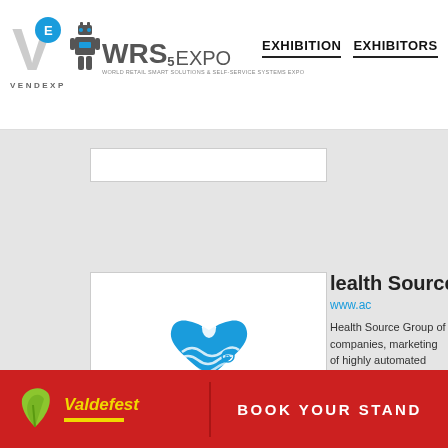VENDEXPO | WRS5 EXPO | EXHIBITION | EXHIBITORS
[Figure (logo): Vendexpo logo with V in circle]
[Figure (logo): WRS5 EXPO robot logo with navigation items EXHIBITION and EXHIBITORS]
[Figure (logo): Health Source (Источник Здоровья) company logo - blue heart with water drop]
Health Source
www.ac
Health Source Group of companies, marketing of highly automated equip cleaning water.
Type of business: Water, coolers, wa
Ladon (Custom RC&B
Ladon company (Custom RC&B) spe technological level to th
[Figure (logo): Valdefest logo in yellow-green]
BOOK YOUR STAND